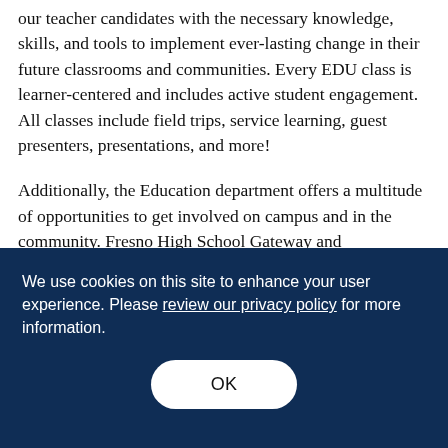our teacher candidates with the necessary knowledge, skills, and tools to implement ever-lasting change in their future classrooms and communities. Every EDU class is learner-centered and includes active student engagement.  All classes include field trips, service learning, guest presenters, presentations, and more!
Additionally, the Education department offers a multitude of opportunities to get involved on campus and in the community. Fresno High School Gateway and...
We use cookies on this site to enhance your user experience. Please review our privacy policy for more information.
OK